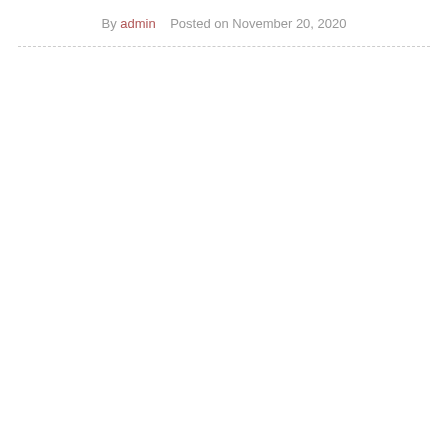By admin    Posted on November 20, 2020